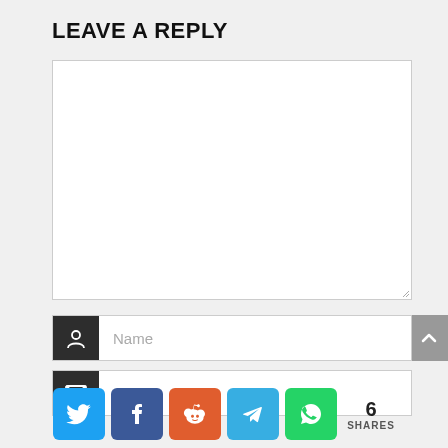LEAVE A REPLY
[Figure (screenshot): Comment text area input field, empty, with resize handle at bottom-right]
[Figure (screenshot): Name input field with dark person icon on left, placeholder text 'Name']
[Figure (screenshot): E-mail input field with dark envelope icon on left, placeholder text 'E-mail']
[Figure (infographic): Social share bar with Twitter, Facebook, Reddit, Telegram, WhatsApp buttons and '6 SHARES' count]
[Figure (screenshot): Back to top button (grey arrow up) on right side]